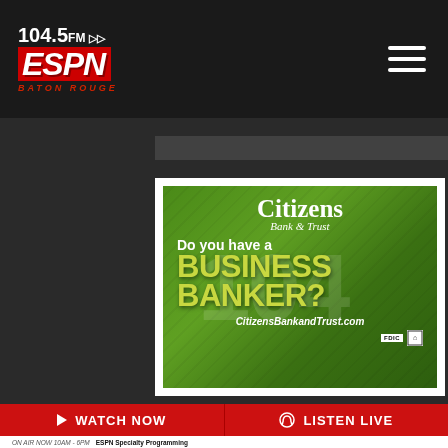104.5 FM ESPN Baton Rouge
[Figure (infographic): Citizens Bank & Trust advertisement on green background. Text reads: Citizens Bank & Trust, Do you have a BUSINESS BANKER? CitizensBankandTrust.com. FDIC and Equal Housing logos shown.]
▷ WATCH NOW
🎧 LISTEN LIVE
ON AIR NOW 10AM - 6PM  ESPN Specialty Programming